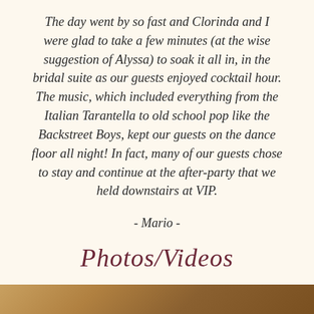The day went by so fast and Clorinda and I were glad to take a few minutes (at the wise suggestion of Alyssa) to soak it all in, in the bridal suite as our guests enjoyed cocktail hour. The music, which included everything from the Italian Tarantella to old school pop like the Backstreet Boys, kept our guests on the dance floor all night! In fact, many of our guests chose to stay and continue at the after-party that we held downstairs at VIP.
- Mario -
Photos/Videos
[Figure (photo): Bottom strip showing a partial photo, brownish/warm toned]